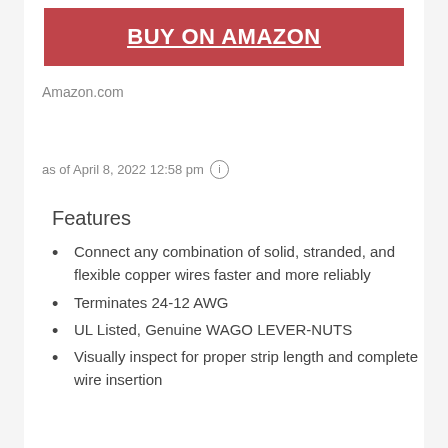[Figure (other): Red button with white bold underlined text 'BUY ON AMAZON']
Amazon.com
as of April 8, 2022 12:58 pm ⓘ
Features
Connect any combination of solid, stranded, and flexible copper wires faster and more reliably
Terminates 24-12 AWG
UL Listed, Genuine WAGO LEVER-NUTS
Visually inspect for proper strip length and complete wire insertion